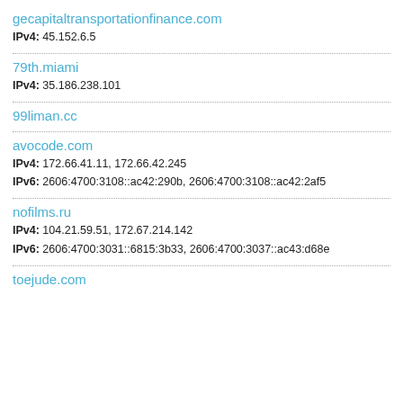gecapitaltransportationfinance.com
IPv4: 45.152.6.5
79th.miami
IPv4: 35.186.238.101
99liman.cc
avocode.com
IPv4: 172.66.41.11, 172.66.42.245
IPv6: 2606:4700:3108::ac42:290b, 2606:4700:3108::ac42:2af5
nofilms.ru
IPv4: 104.21.59.51, 172.67.214.142
IPv6: 2606:4700:3031::6815:3b33, 2606:4700:3037::ac43:d68e
toejude.com